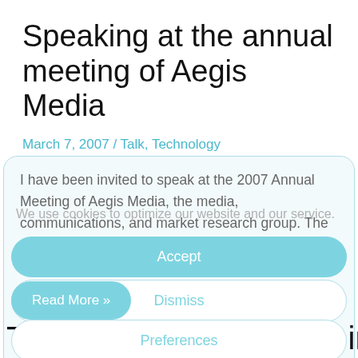Speaking at the annual meeting of Aegis Media
March 7, 2007 / Talk, Technology
I have been invited to speak at the 2007 Annual Meeting of Aegis Media, the media, communications, and market research group. The title of my talk is going to be “A New Life for Marketing in Virtual Worlds – What are you really promoting in Second Life”, and as usual it will be possible to …
We use cookies to optimize our website and our service.
Accept
Read More »
Dismiss
Preferences
Transcript of my lecture in